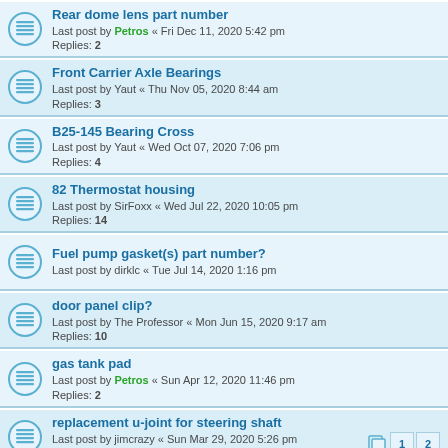Rear dome lens part number
Last post by Petros « Fri Dec 11, 2020 5:42 pm
Replies: 2
Front Carrier Axle Bearings
Last post by Yaut « Thu Nov 05, 2020 8:44 am
Replies: 3
B25-145 Bearing Cross
Last post by Yaut « Wed Oct 07, 2020 7:06 pm
Replies: 4
82 Thermostat housing
Last post by SirFoxx « Wed Jul 22, 2020 10:05 pm
Replies: 14
Fuel pump gasket(s) part number?
Last post by dirklc « Tue Jul 14, 2020 1:16 pm
door panel clip?
Last post by The Professor « Mon Jun 15, 2020 9:17 am
Replies: 10
gas tank pad
Last post by Petros « Sun Apr 12, 2020 11:46 pm
Replies: 2
replacement u-joint for steering shaft
Last post by jimcrazy « Sun Mar 29, 2020 5:26 pm
Replies: 15
Carburetor Fuel Mixture Screw?
Last post by Petros « Mon Mar 09, 2020 5:54 pm
Replies: 3
Alternator...